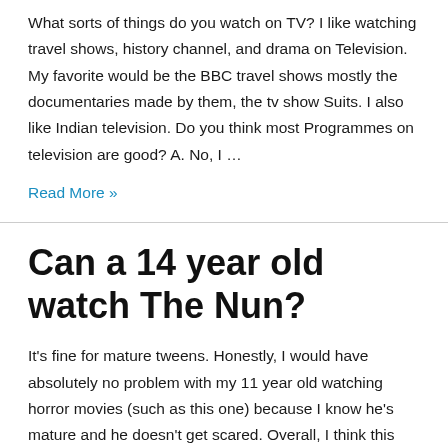What sorts of things do you watch on TV? I like watching travel shows, history channel, and drama on Television. My favorite would be the BBC travel shows mostly the documentaries made by them, the tv show Suits. I also like Indian television. Do you think most Programmes on television are good? A. No, I …
Read More »
Can a 14 year old watch The Nun?
It's fine for mature tweens. Honestly, I would have absolutely no problem with my 11 year old watching horror movies (such as this one) because I know he's mature and he doesn't get scared. Overall, I think this movie can be okay for a very mature 9 year old, a mature 11 year old, and …